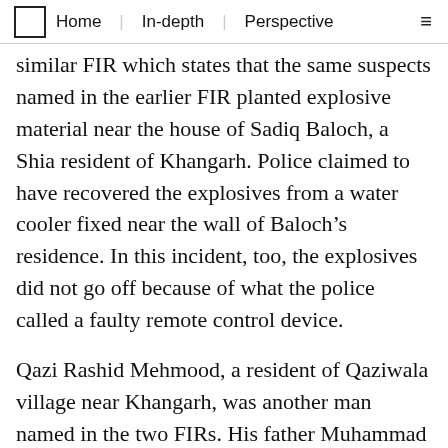Home | In-depth | Perspective
similar FIR which states that the same suspects named in the earlier FIR planted explosive material near the house of Sadiq Baloch, a Shia resident of Khangarh. Police claimed to have recovered the explosives from a water cooler fixed near the wall of Baloch's residence. In this incident, too, the explosives did not go off because of what the police called a faulty remote control device.
Qazi Rashid Mehmood, a resident of Qaziwala village near Khangarh, was another man named in the two FIRs. His father Muhammad Hanif Qureshi says the police first raided their house on April 5, 2015. Mehmood escaped during the raid. The police conducted a second raid on April